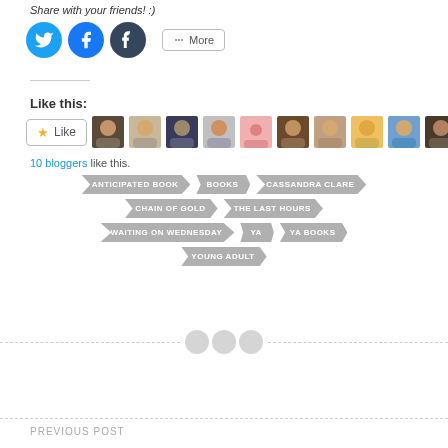Share with your friends! :)
[Figure (infographic): Social sharing buttons: Twitter (blue circle), Facebook (blue circle), Tumblr (dark circle), and a More button with share icon]
Like this:
[Figure (infographic): Like button with star icon and 10 avatar thumbnails of bloggers who liked this post]
10 bloggers like this.
ANTICIPATED BOOK
BOOKS
CASSANDRA CLARE
CHAIN OF GOLD
THE LAST HOURS
WAITING ON WEDNESDAY
YA
YA BOOKS
YOUNG ADULT
PREVIOUS POST